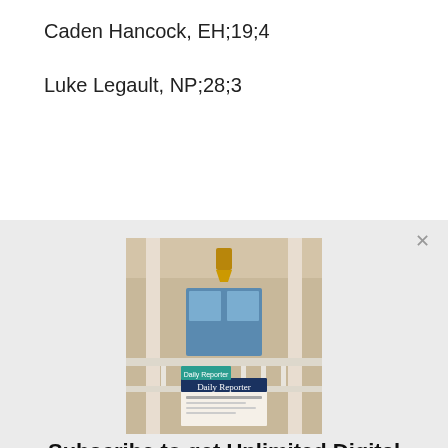Caden Hancock, EH;19;4
Luke Legault, NP;28;3
[Figure (screenshot): Screenshot of a newspaper subscription modal overlay showing a Daily Reporter newspaper on a porch, with subscribe button and sign-in link.]
Subscribe to get Unlimited Digital Access
Choose your subscription to the Daily Reporter. Already a subscriber? Link your Subscription or Sign in
Subscribe